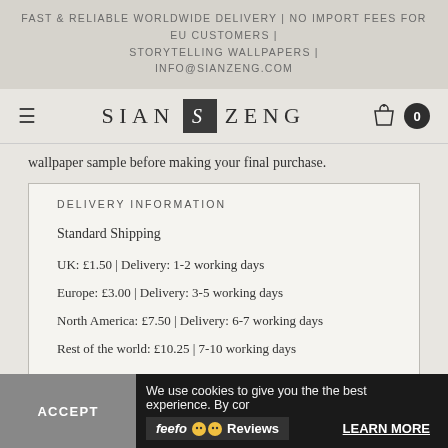FAST & RELIABLE WORLDWIDE DELIVERY | NO IMPORT FEES FOR EU CUSTOMERS | STORYTELLING WALLPAPERS | INFO@SIANZENG.COM
[Figure (logo): Sian Zeng logo with hamburger menu icon on left and shopping bag with cart count 0 on right]
wallpaper sample before making your final purchase.
DELIVERY INFORMATION
Standard Shipping
UK: £1.50 | Delivery: 1-2 working days
Europe: £3.00 | Delivery: 3-5 working days
North America: £7.50 | Delivery: 6-7 working days
Rest of the world: £10.25 | 7-10 working days
ACCEPT  We use cookies to give you the the best experience. By cor...  feefo Reviews  LEARN MORE